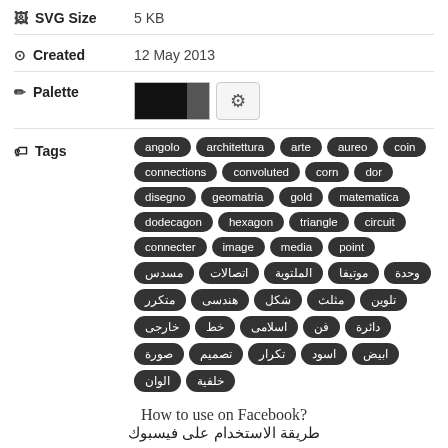SVG Size   5 KB
Created   12 May 2013
Palette
Tags: angolo, architettura, arte, aureo, coin, connections, convoluted, corn, dor, disegno, geomatria, gold, matematica, dodecagon, hexagon, triangle, circuit, connecter, image, media, point, مسدس, اتصالات, الملتوية, موتيفا, وحدة, متكرر, هندسى, شكل, مثلث, تلوين, خارجى, خط, اسلامى, فن, دائرة, صورة, تصميم, تكرار, اسود, ابيض, الوان, خلفية
How to use on Facebook?
طريقة الاستخدام على فيسبوك